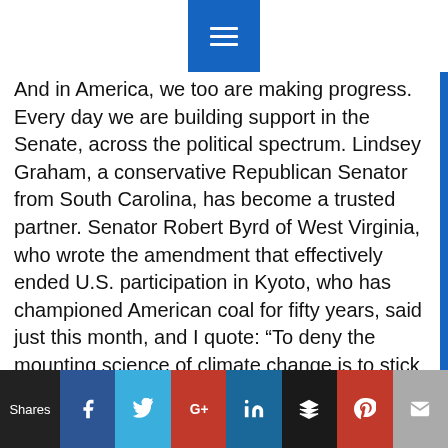Navigation menu button
And in America, we too are making progress. Every day we are building support in the Senate, across the political spectrum. Lindsey Graham, a conservative Republican Senator from South Carolina, has become a trusted partner. Senator Robert Byrd of West Virginia, who wrote the amendment that effectively ended U.S. participation in Kyoto, who has championed American coal for fifty years, said just this month, and I quote: “To deny the mounting science of climate change is to stick our heads in the sand and say ‘deal me out.’ West Virginia would be much smarter to stay at the table.” Twelve years after the Byrd-Hagel Amendment, we finally have Robert Byrd at the table. The two key Senate Committees have already advanced major proposals and the Leader of the Senate, Harry Reid, has stated publicly that we will take this on early next
Shares [Facebook] [Twitter] [Google+] [LinkedIn] [Buffer] [Pinterest] [Mail]